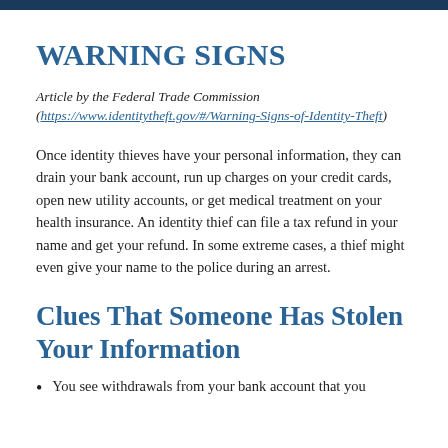WARNING SIGNS
Article by the Federal Trade Commission (https://www.identitytheft.gov/#/Warning-Signs-of-Identity-Theft)
Once identity thieves have your personal information, they can drain your bank account, run up charges on your credit cards, open new utility accounts, or get medical treatment on your health insurance. An identity thief can file a tax refund in your name and get your refund. In some extreme cases, a thief might even give your name to the police during an arrest.
Clues That Someone Has Stolen Your Information
You see withdrawals from your bank account that you